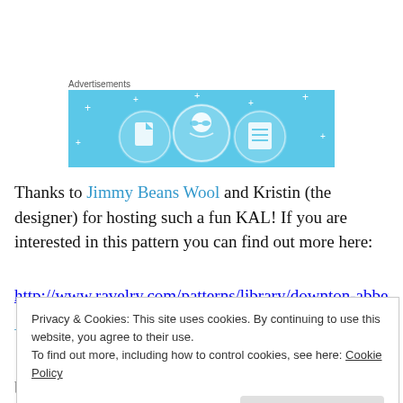Advertisements
[Figure (illustration): Advertisement banner with light blue background showing three circular icons with illustrated figures representing file, person with glasses, and document/list, with decorative plus signs scattered around.]
Thanks to Jimmy Beans Wool and Kristin (the designer) for hosting such a fun KAL!  If you are interested in this pattern you can find out more here:
http://www.ravelry.com/patterns/library/downton-abbey-
Privacy & Cookies: This site uses cookies. By continuing to use this website, you agree to their use.
To find out more, including how to control cookies, see here: Cookie Policy
Close and accept
because this one was so much fun.